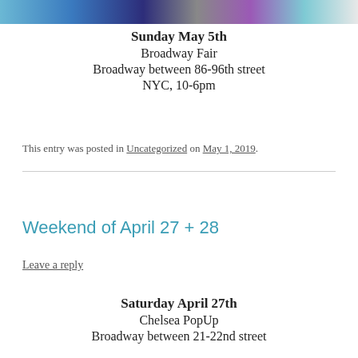[Figure (photo): Partial view of a colorful logo or banner image at the top of the page, cropped at the top edge.]
Sunday May 5th
Broadway Fair
Broadway between 86-96th street
NYC, 10-6pm
This entry was posted in Uncategorized on May 1, 2019.
Weekend of April 27 + 28
Leave a reply
Saturday April 27th
Chelsea PopUp
Broadway between 21-22nd street